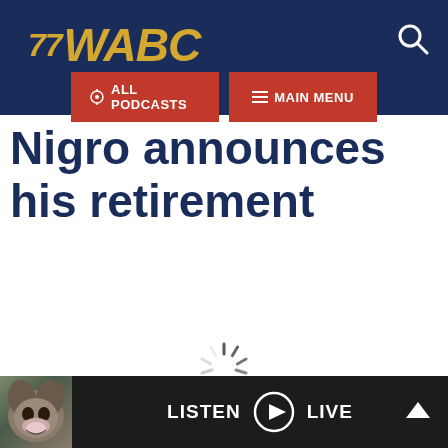[Figure (logo): 77 WABC radio logo in gold italic text on dark navy blue header bar]
[Figure (other): Navigation buttons: ALL PODCASTS and MAIN MENU on red background]
Nigro announces his retirement
[Figure (other): Loading spinner animation in the center of the page]
[Figure (other): Bottom player bar with dog thumbnail, LISTEN LIVE controls, and chevron arrow]